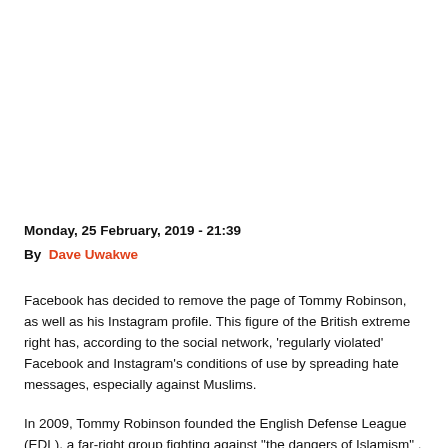Monday, 25 February, 2019 - 21:39
By  Dave Uwakwe
Facebook has decided to remove the page of Tommy Robinson, as well as his Instagram profile. This figure of the British extreme right has, according to the social network, 'regularly violated' Facebook and Instagram's conditions of use by spreading hate messages, especially against Muslims.
In 2009, Tommy Robinson founded the English Defense League (EDL), a far-right group fighting against "the dangers of Islamism" . Sentenced to 13 months in jail in May 2018 for filming and distributing images of a